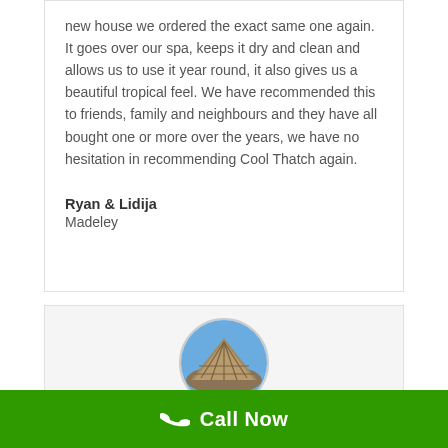new house we ordered the exact same one again. It goes over our spa, keeps it dry and clean and allows us to use it year round, it also gives us a beautiful tropical feel. We have recommended this to friends, family and neighbours and they have all bought one or more over the years, we have no hesitation in recommending Cool Thatch again.
Ryan & Lidija
Madeley
[Figure (photo): Circular cropped photo of a thatched roof structure against a blue sky]
Call Now